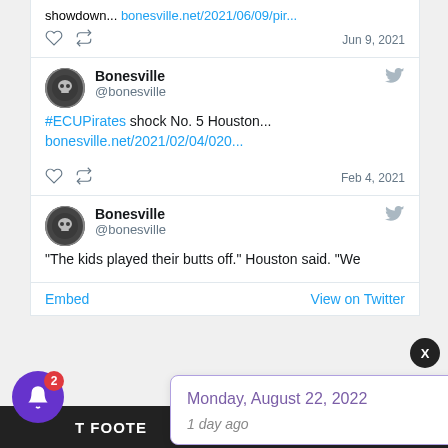showdown... bonesville.net/2021/06/09/pir...
Jun 9, 2021
Bonesville @bonesville — #ECUPirates shock No. 5 Houston... bonesville.net/2021/02/04/020...
Feb 4, 2021
Bonesville @bonesville — "The kids played their butts off." Houston said. "We
Embed   View on Twitter
Monday, August 22, 2022
1 day ago